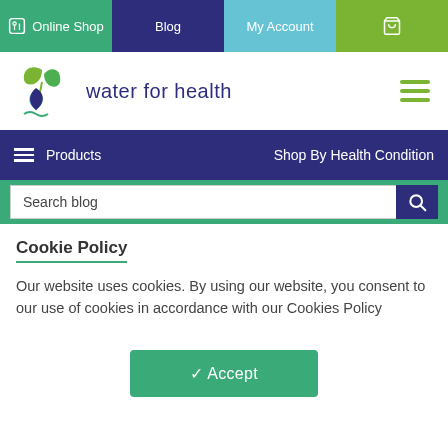Online Shop | Blog | My Account | Cart
[Figure (logo): Water for health logo with green leaf and blue water drop]
Products | Shop By Health Condition
Search blog
Cookie Policy
Our website uses cookies. By using our website, you consent to our use of cookies in accordance with our Cookies Policy
✓ Accept